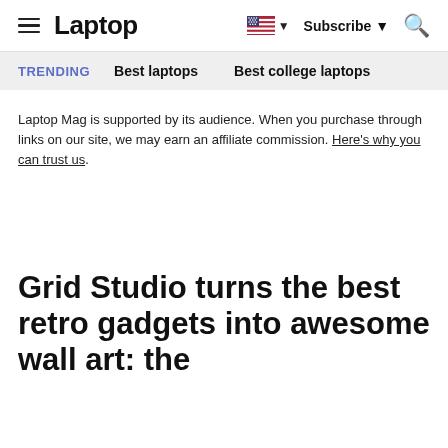Laptop | Subscribe | Search
TRENDING   Best laptops   Best college laptops
Laptop Mag is supported by its audience. When you purchase through links on our site, we may earn an affiliate commission. Here's why you can trust us.
Grid Studio turns the best retro gadgets into awesome wall art: the